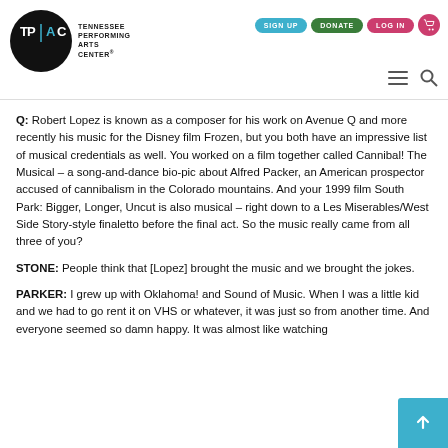TPAC Tennessee Performing Arts Center — SIGN UP | DONATE | LOG IN
Q: Robert Lopez is known as a composer for his work on Avenue Q and more recently his music for the Disney film Frozen, but you both have an impressive list of musical credentials as well. You worked on a film together called Cannibal! The Musical – a song-and-dance bio-pic about Alfred Packer, an American prospector accused of cannibalism in the Colorado mountains. And your 1999 film South Park: Bigger, Longer, Uncut is also musical – right down to a Les Miserables/West Side Story-style finaletto before the final act. So the music really came from all three of you?
STONE: People think that [Lopez] brought the music and we brought the jokes.
PARKER: I grew up with Oklahoma! and Sound of Music. When I was a little kid and we had to go rent it on VHS or whatever, it was just so from another time. And everyone seemed so damn happy. It was almost like watching